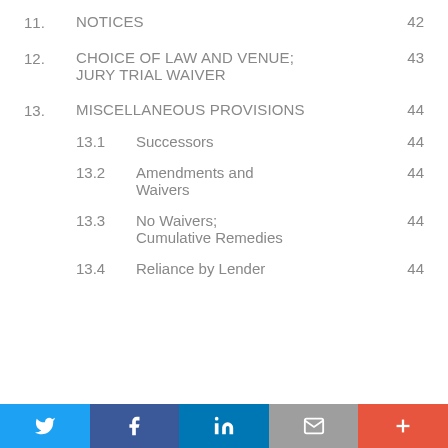11.   NOTICES   42
12.   CHOICE OF LAW AND VENUE; JURY TRIAL WAIVER   43
13.   MISCELLANEOUS PROVISIONS   44
13.1   Successors   44
13.2   Amendments and Waivers   44
13.3   No Waivers; Cumulative Remedies   44
13.4   Reliance by Lender   44